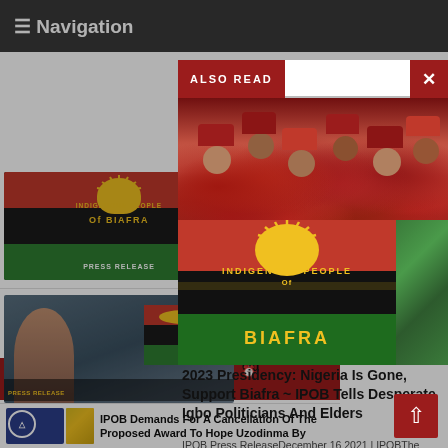≡ Navigation
Nige
1
☰ Recent
[Figure (photo): IPOB press release thumbnail image with logo]
So
M
[Figure (photo): Biafra IPOB press release protest image]
Bi
To
Tr
Ou
[Figure (photo): IPOB Demands article thumbnail]
IPOB Demands For A Cancellation Of The Proposed Award To Hope Uzodinma By
ALSO READ
[Figure (photo): Crowd of Igbo people wearing traditional red caps (fez hats)]
[Figure (logo): Indigenous People of BIAFRA (IPOB) logo with rising sun, red black and green stripes]
[Figure (photo): Small green image, possibly food or nature]
2023 Presidency: Nigeria Is Gone, Support Biafra ~ IPOB Tells Desperate Igbo Politicians And Elders
IPOB Press ReleaseDecember 16 2021 | IPOBThe attention of the global movement and family of the Indigenous People of Bi